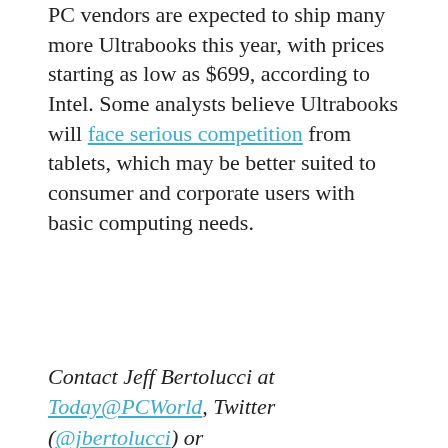PC vendors are expected to ship many more Ultrabooks this year, with prices starting as low as $699, according to Intel. Some analysts believe Ultrabooks will face serious competition from tablets, which may be better suited to consumer and corporate users with basic computing needs.
Contact Jeff Bertolucci at Today@PCWorld, Twitter (@jbertolucci) or jbertolucci.blogspot.com.
SPONSORED
Recommended by Outbrain
Coupon Codes